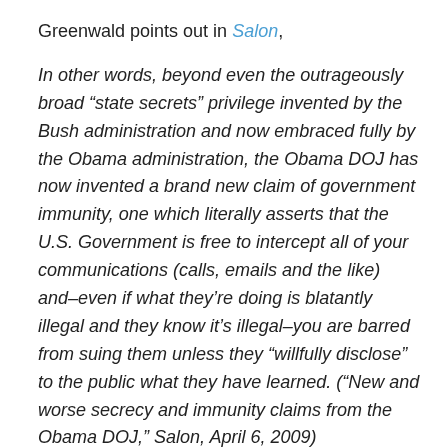Greenwald points out in Salon,
In other words, beyond even the outrageously broad “state secrets” privilege invented by the Bush administration and now embraced fully by the Obama administration, the Obama DOJ has now invented a brand new claim of government immunity, one which literally asserts that the U.S. Government is free to intercept all of your communications (calls, emails and the like) and–even if what they’re doing is blatantly illegal and they know it’s illegal–you are barred from suing them unless they “willfully disclose” to the public what they have learned. (“New and worse secrecy and immunity claims from the Obama DOJ,” Salon, April 6, 2009)
EFF attorney Kevin Bankston told Salon: “This is the first time [the DOJ] claimed sovereign immunity against